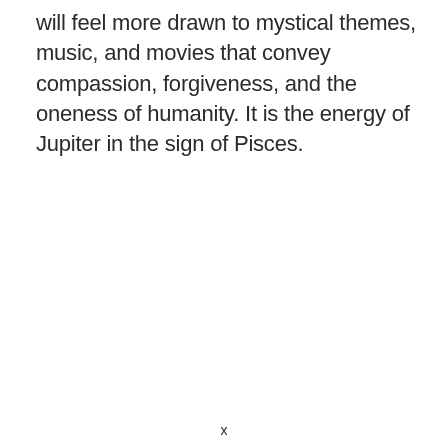will feel more drawn to mystical themes, music, and movies that convey compassion, forgiveness, and the oneness of humanity. It is the energy of Jupiter in the sign of Pisces.
x